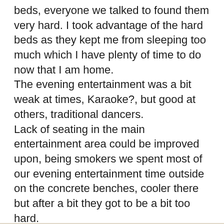beds, everyone we talked to found them very hard. I took advantage of the hard beds as they kept me from sleeping too much which I have plenty of time to do now that I am home.
The evening entertainment was a bit weak at times, Karaoke?, but good at others, traditional dancers.
Lack of seating in the main entertainment area could be improved upon, being smokers we spent most of our evening entertainment time outside on the concrete benches, cooler there but after a bit they got to be a bit too hard.
TIPS = To Insure Prompt Service, we alloted up to 20usd a day for this and had no problem whether in the resort or out on adventures.
For the amount of money it cost us for our 14 days I think we did very good all in all, and will one day return as so many others we met at the resort have, some have been back as many as 6 times.
[Details]